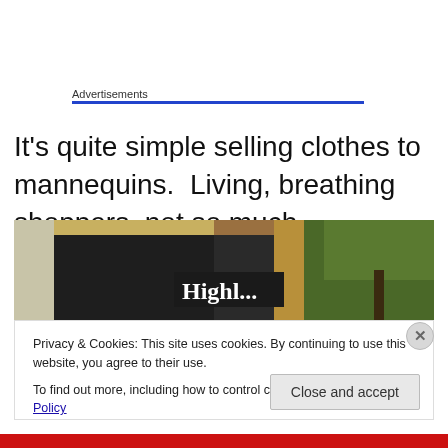Advertisements
It's quite simple selling clothes to mannequins.  Living, breathing shoppers, not so much.
[Figure (photo): Street-level exterior photo of a store with a sign reading 'Highl...' (Highland something), showing the building facade with dark window displays and trees in background]
Privacy & Cookies: This site uses cookies. By continuing to use this website, you agree to their use.
To find out more, including how to control cookies, see here: Cookie Policy
Close and accept